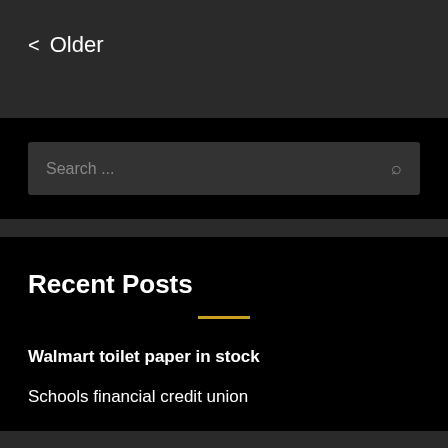< Older
[Figure (screenshot): Search bar with placeholder text 'Search ...' and a magnifying glass icon on the right]
Recent Posts
Walmart toilet paper in stock
Schools financial credit union